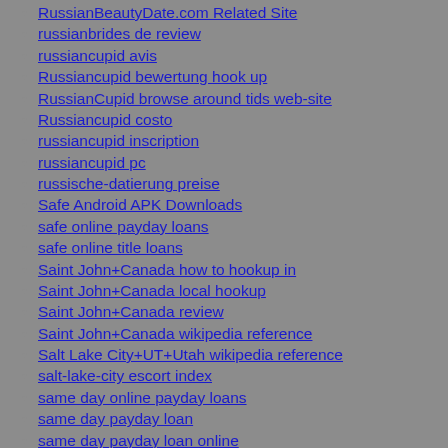RussianBeautyDate.com Related Site
russianbrides de review
russiancupid avis
Russiancupid bewertung hook up
RussianCupid browse around tids web-site
Russiancupid costo
russiancupid inscription
russiancupid pc
russische-datierung preise
Safe Android APK Downloads
safe online payday loans
safe online title loans
Saint John+Canada how to hookup in
Saint John+Canada local hookup
Saint John+Canada review
Saint John+Canada wikipedia reference
Salt Lake City+UT+Utah wikipedia reference
salt-lake-city escort index
same day online payday loans
same day payday loan
same day payday loan online
same day payday loans
same day title loan
same day title loan online
same day title loans